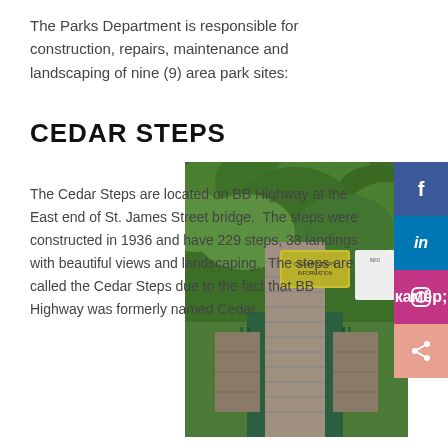The Parks Department is responsible for construction, repairs, maintenance and landscaping of nine (9) area park sites:
CEDAR STEPS
[Figure (photo): Photo of Cedar Steps entrance showing wooden staircase going up through dense green trees, with green metal gate and a yellow sign at the top]
The Cedar Steps are located on BB Highway at the East end of St. James Street bridge. The steps were constructed in 1936 and have 229 steps, 33 landings with beautiful views and landscaping. The steps are called the Cedar Steps due to the fact that BB Highway was formerly named Cedar.